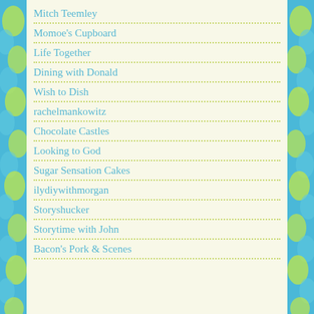Mitch Teemley
Momoe's Cupboard
Life Together
Dining with Donald
Wish to Dish
rachelmankowitz
Chocolate Castles
Looking to God
Sugar Sensation Cakes
ilydiywithmorgan
Storyshucker
Storytime with John
Bacon's Pork & Scenes